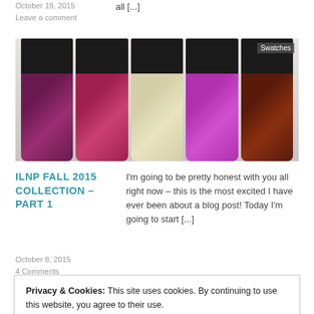October 19, 2015
Leave a comment
all [...]
[Figure (photo): Five nail polish bottles lined up with black caps, showing glittery purple, pink/red, cream/beige, bright purple/magenta, and dark glittery brown colors. A 'Swatches' label appears in the top right corner.]
ILNP FALL 2015 COLLECTION – PART 1
I'm going to be pretty honest with you all right now – this is the most excited I have ever been about a blog post! Today I'm going to start [...]
October 8, 2015
4 Comments
Privacy & Cookies: This site uses cookies. By continuing to use this website, you agree to their use.
To find out more, including how to control cookies, see here: Cookie Policy
Close and accept